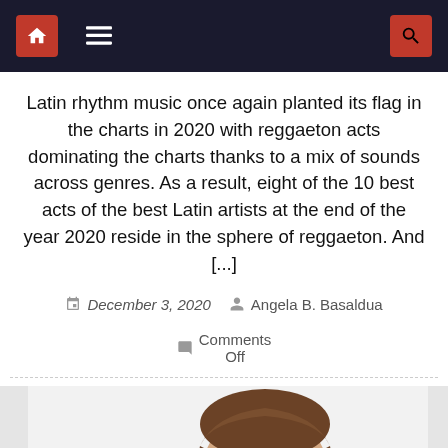Navigation bar with home icon, menu icon, and search icon
Latin rhythm music once again planted its flag in the charts in 2020 with reggaeton acts dominating the charts thanks to a mix of sounds across genres. As a result, eight of the 10 best acts of the best Latin artists at the end of the year 2020 reside in the sphere of reggaeton. And [...]
December 3, 2020   Angela B. Basaldua   Comments Off
[Figure (photo): Young man with short brown hair wearing a black shirt and chain necklace, photographed against a light background]